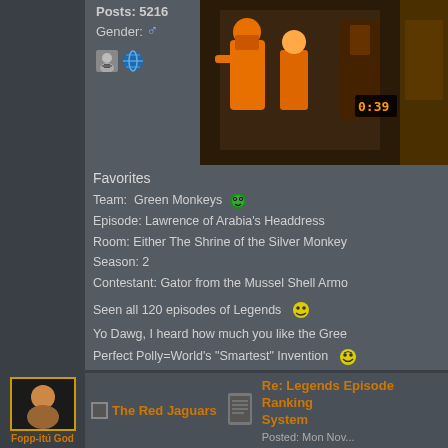Posts: 5216
Gender: ♂
[Figure (screenshot): TV screenshot showing game show contestants in colorful costumes with timer showing 0:39]
Favorites
Team: Green Monkeys
Episode: Lawrence of Arabia's Headdress
Room: Either The Shrine of the Silver Monkey
Season: 2
Contestant: Gator from the Mussel Shell Armo
Seen all 120 episodes of Legends
Yo Dawg, I heard how much you like the Gree
Perfect Polly=World's "Smartest" Invention
I <3 Shaka Zulu! Drat That Zulu Drought!!
Teams ranked
1. Green Jaguars  280 pts
2. Red Jaguars  270 pts
3. Silver Snakes  269 pts
4. Blue Barracudas  252 pts
5. Orange Iguanas  250 pts
6. Purple Parrots  239 pts
The Red Jaguars
Re: Legends Episode Ranking System